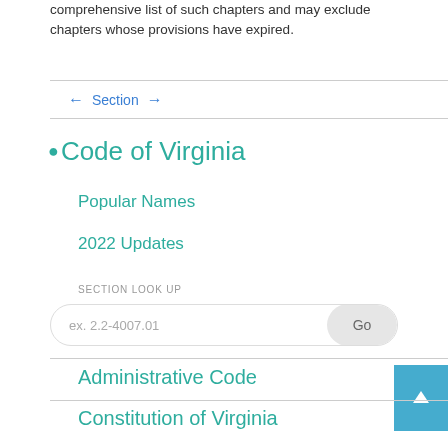comprehensive list of such chapters and may exclude chapters whose provisions have expired.
← Section →
• Code of Virginia
Popular Names
2022 Updates
SECTION LOOK UP
ex. 2.2-4007.01
Administrative Code
Constitution of Virginia
Charters
Authorities